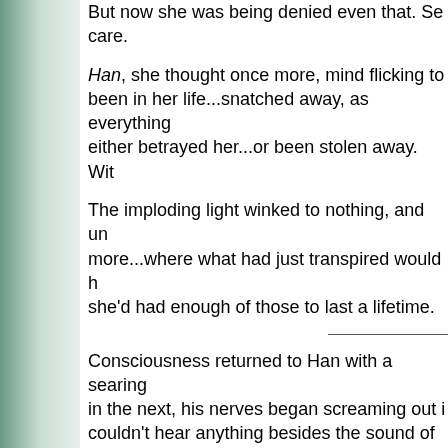But now she was being denied even that. Se... care.
Han, she thought once more, mind flicking to been in her life...snatched away, as everything either betrayed her...or been stolen away. Wi...
The imploding light winked to nothing, and un more...where what had just transpired would h she'd had enough of those to last a lifetime.
Consciousness returned to Han with a searing in the next, his nerves began screaming out i couldn't hear anything besides the sound of h through his ears.
What ?? Where?
Something touched and lifted his head. Then
The clean air forced in through the mask start stupor. Several hacking coughs escaped him urging him to quiet down.
Han did his best to cough as silently as possi several of them were broken?maybe one of h Chewie ? the Wookiee was injured, but not cr turned his head to see how badly hurt Leia wa